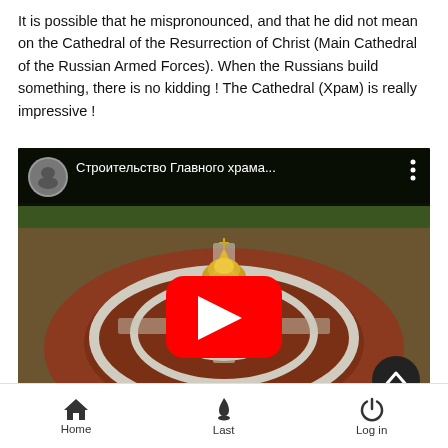It is possible that he mispronounced, and that he did not mean on the Cathedral of the Resurrection of Christ (Main Cathedral of the Russian Armed Forces). When the Russians build something, there is no kidding ! The Cathedral (Храм) is really impressive !
[Figure (screenshot): YouTube video embed showing aerial view of the Cathedral of the Resurrection of Christ (Main Cathedral of the Russian Armed Forces). Video title in Russian: Строительство Главного храма... with YouTube play button overlay.]
Home   Last   Log in